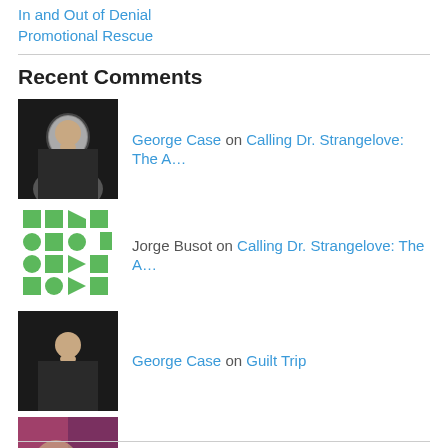In and Out of Denial
Promotional Rescue
Recent Comments
George Case on Calling Dr. Strangelove: The A…
Jorge Busot on Calling Dr. Strangelove: The A…
George Case on Guilt Trip
Eric Gilliland on Guilt Trip
Takin' Care of… on Blue-Collar Boogie